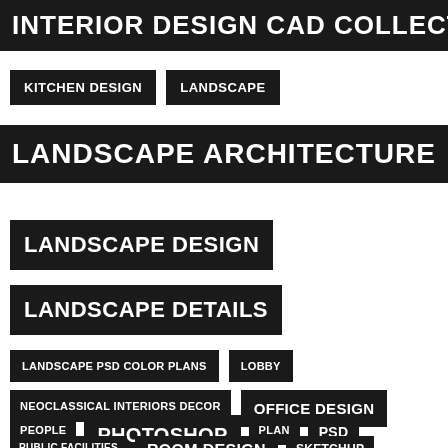INTERIOR DESIGN CAD COLLECTI
KITCHEN DESIGN
LANDSCAPE
LANDSCAPE ARCHITECTURE
LANDSCAPE DESIGN
LANDSCAPE DETAILS
LANDSCAPE PSD COLOR PLANS
LOBBY
NEOCLASSICAL INTERIORS DECOR
OFFICE DESIGN
PEOPLE
PHOTOSHOP
PLAN
PSD
PUBLIC FACILITIES
ROOM DESIGN
SKETCHUP